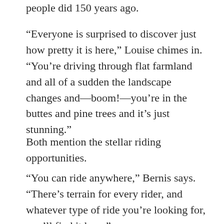people did 150 years ago.
“Everyone is surprised to discover just how pretty it is here,” Louise chimes in. “You’re driving through flat farmland and all of a sudden the landscape changes and—boom!—you’re in the buttes and pine trees and it’s just stunning.”
Both mention the stellar riding opportunities.
“You can ride anywhere,” Bernis says. “There’s terrain for every rider, and whatever type of ride you’re looking for, you’ll find it here.”